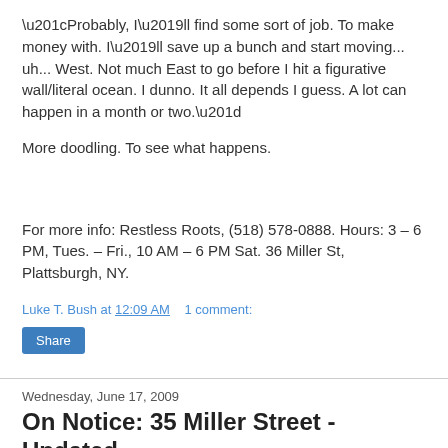“Probably, I’ll find some sort of job. To make money with. I’ll save up a bunch and start moving... uh... West. Not much East to go before I hit a figurative wall/literal ocean. I dunno. It all depends I guess. A lot can happen in a month or two.”
More doodling. To see what happens.
For more info: Restless Roots, (518) 578-0888. Hours: 3 – 6 PM, Tues. – Fri., 10 AM – 6 PM Sat. 36 Miller St, Plattsburgh, NY.
Luke T. Bush at 12:09 AM   1 comment:
Share
Wednesday, June 17, 2009
On Notice: 35 Miller Street - Updated